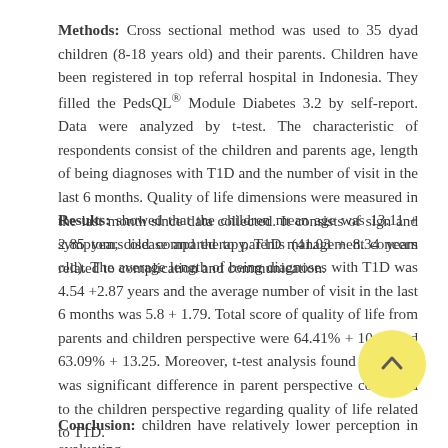Methods: Cross sectional method was used to 35 dyad children (8-18 years old) and their parents. Children have been registered in top referral hospital in Indonesia. They filled the PedsQL® Module Diabetes 3.2 by self-report. Data were analyzed by t-test. The characteristic of respondents consist of the children and parents age, length of being diagnoses with T1D and the number of visit in the last 6 months. Quality of life dimensions were measured in the last month since data collected. It consists of sign and symptom, disease and therapy, T1D management concern related to complication and communication.
Results: showed that the children mean age was 13.11 + 2.85 years old compared to parents (41.03 + 8.34 years old). The average length of being diagnoses with T1D was 4.54 +2.87 years and the average number of visit in the last 6 months was 5.8 + 1.79. Total score of quality of life from parents and children perspective were 64.41% + 10.97 and 63.09% + 13.25. Moreover, t-test analysis found that there was significant difference in parent perspective compared to the children perspective regarding quality of life related to T1D.
Conclusion: children have relatively lower perception in evaluating